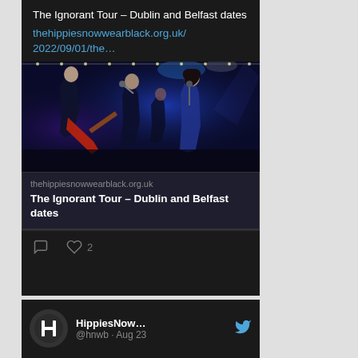The Ignorant Tour – Dublin and Belfast dates
thehippiesnowwearblack.org.uk/2022/09/01/the…
[Figure (photo): Concert photo showing band performing on stage with blue lighting. Several musicians visible including guitarist and female vocalist at microphone.]
thehippiesnowwearblack.org.uk
The Ignorant Tour – Dublin and Belfast dates
♡ 2
HippiesNow... @hnwb · Aug 23